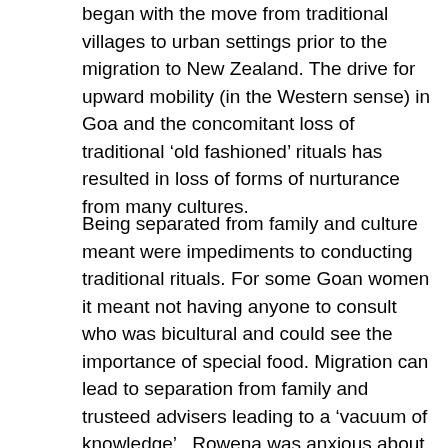began with the move from traditional villages to urban settings prior to the migration to New Zealand. The drive for upward mobility (in the Western sense) in Goa and the concomitant loss of traditional 'old fashioned' rituals has resulted in loss of forms of nurturance from many cultures.
Being separated from family and culture meant were impediments to conducting traditional rituals. For some Goan women it meant not having anyone to consult who was bicultural and could see the importance of special food. Migration can lead to separation from family and trusteed advisers leading to a 'vacuum of knowledge' . Rowena was anxious about the appropriate food to be eating and struggled to create a new frame of reference and develop a sense of